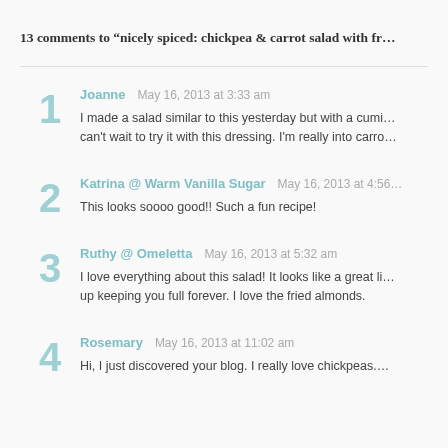13 comments to “nicely spiced: chickpea & carrot salad with fr…”
1. Joanne May 16, 2013 at 3:33 am — I made a salad similar to this yesterday but with a cumi… can't wait to try it with this dressing. I'm really into carro…
2. Katrina @ Warm Vanilla Sugar May 16, 2013 at 4:56… — This looks soooo good!! Such a fun recipe!
3. Ruthy @ Omeletta May 16, 2013 at 5:32 am — I love everything about this salad! It looks like a great li… up keeping you full forever. I love the fried almonds.
4. Rosemary May 16, 2013 at 11:02 am — Hi, I just discovered your blog. I really love chickpeas. T…